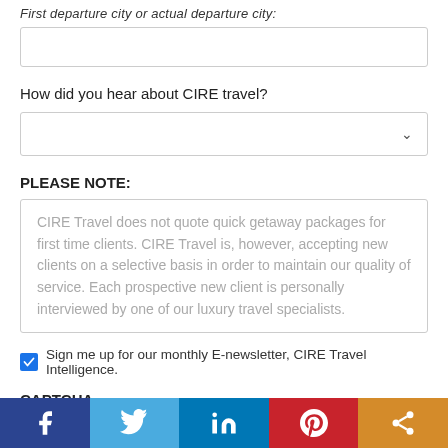First departure city or actual departure city:
How did you hear about CIRE travel?
PLEASE NOTE:
CIRE Travel does not quote quick getaway packages for first time clients. CIRE Travel is, however, accepting new clients on a selective basis in order to maintain our quality of service. Each prospective new client is personally interviewed by one of our luxury travel specialists.
Sign me up for our monthly E-newsletter, CIRE Travel Intelligence.
CAPTCHA
Social share bar: Facebook, Twitter, LinkedIn, Pinterest, Share